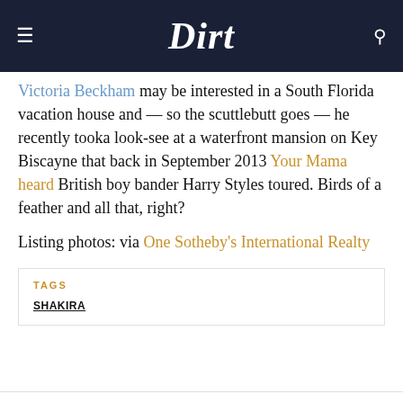Dirt
Victoria Beckham may be interested in a South Florida vacation house and — so the scuttlebutt goes — he recently tooka look-see at a waterfront mansion on Key Biscayne that back in September 2013 Your Mama heard British boy bander Harry Styles toured. Birds of a feather and all that, right?
Listing photos: via One Sotheby's International Realty
TAGS
SHAKIRA